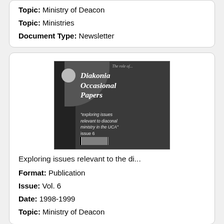Topic: Ministry of Deacon
Topic: Ministries
Document Type: Newsletter
[Figure (photo): Cover of Diakonia Occasional Papers, issue 6, 1998-1999, 'exploring issues relevant to diaconal ministry in the UCA']
Exploring issues relevant to the di...
Format: Publication
Issue: Vol. 6
Date: 1998-1999
Topic: Ministry of Deacon